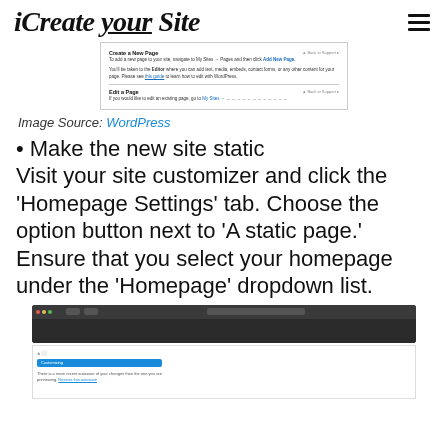iCreate your Site
[Figure (screenshot): WordPress 'Create a New Page' and 'Edit a Page' help documentation screenshot]
Image Source: WordPress
Make the new site static
Visit your site customizer and click the 'Homepage Settings' tab. Choose the option button next to 'A static page.' Ensure that you select your homepage under the 'Homepage' dropdown list.
[Figure (screenshot): Browser screenshot showing WordPress customizer interface for homepage settings]